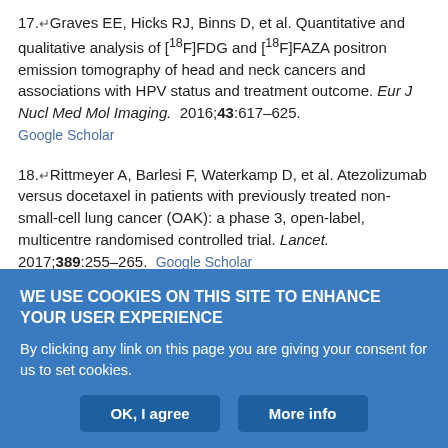17. Graves EE, Hicks RJ, Binns D, et al. Quantitative and qualitative analysis of [18F]FDG and [18F]FAZA positron emission tomography of head and neck cancers and associations with HPV status and treatment outcome. Eur J Nucl Med Mol Imaging. 2016;43:617–625. Google Scholar
18. Rittmeyer A, Barlesi F, Waterkamp D, et al. Atezolizumab versus docetaxel in patients with previously treated non-small-cell lung cancer (OAK): a phase 3, open-label, multicentre randomised controlled trial. Lancet. 2017;389:255–265. Google Scholar
19. Sharabi AB, Lim M, DeWeese TL, Drake CG. Radiation and checkpoint blockade immunotherapy: radiosensitisation and potential mechanisms of synergy. Lancet Oncol. 2015;16:e498–e509. CrossRef PubMed Google Scholar
WE USE COOKIES ON THIS SITE TO ENHANCE YOUR USER EXPERIENCE
By clicking any link on this page you are giving your consent for us to set cookies.